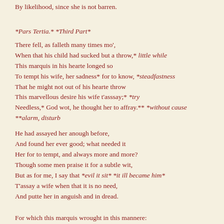By likelihood, since she is not barren.
*Pars Tertia.* *Third Part*
There fell, as falleth many times mo',
When that his child had sucked but a throw,* little while
This marquis in his hearte longed so
To tempt his wife, her sadness* for to know, *steadfastness
That he might not out of his hearte throw
This marvellous desire his wife t'asssay;* *try
Needless,* God wot, he thought her to affray.** *without cause
**alarm, disturb
He had assayed her anough before,
And found her ever good; what needed it
Her for to tempt, and always more and more?
Though some men praise it for a subtle wit,
But as for me, I say that *evil it sit* *it ill became him*
T'assay a wife when that it is no need,
And putte her in anguish and in dread.
For which this marquis wrought in this mannere:
He came at night alone there as she lay,
With sterne face and with full troubled cheer,